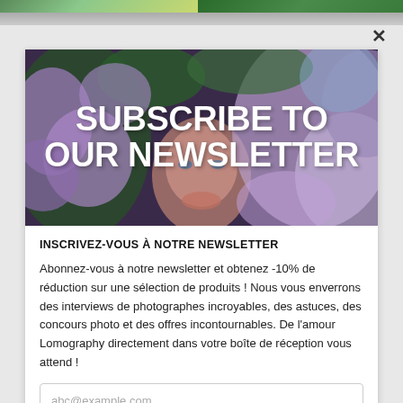[Figure (photo): Top strip showing partial images of colorful nature/floral scenes]
×
[Figure (photo): Hero image showing a person partially hidden among purple/violet lilac flowers with bold white text overlay reading SUBSCRIBE TO OUR NEWSLETTER]
INSCRIVEZ-VOUS À NOTRE NEWSLETTER
Abonnez-vous à notre newsletter et obtenez -10% de réduction sur une sélection de produits ! Nous vous enverrons des interviews de photographes incroyables, des astuces, des concours photo et des offres incontournables. De l'amour Lomography directement dans votre boîte de réception vous attend !
abc@example.com